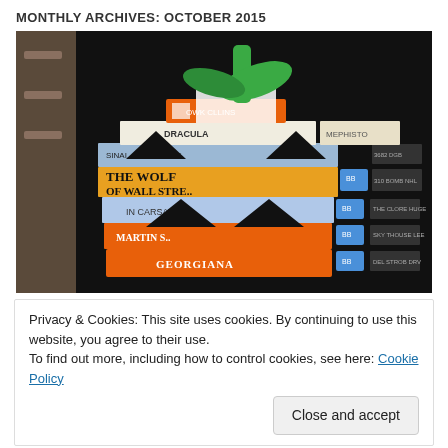MONTHLY ARCHIVES: OCTOBER 2015
[Figure (photo): A Halloween pumpkin craft made from stacked books including Dracula, The Wolf of Wall Street, Georgiana, and others, with black paper triangles for eyes and mouth, and green paper stem and leaves on top.]
Privacy & Cookies: This site uses cookies. By continuing to use this website, you agree to their use.
To find out more, including how to control cookies, see here: Cookie Policy
Close and accept
So I found a picture similar to the critters we made